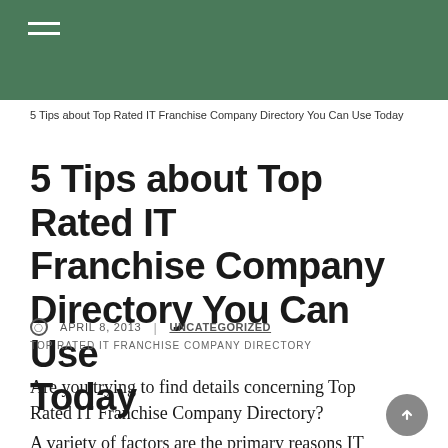5 Tips about Top Rated IT Franchise Company Directory You Can Use Today
5 Tips about Top Rated IT Franchise Company Directory You Can Use Today
APRIL 8, 2013  UNCATEGORIZED
TOP RATED IT FRANCHISE COMPANY DIRECTORY
Are you trying to find details concerning Top Rated IT Franchise Company Directory?
A variety of factors are the primary reasons IT